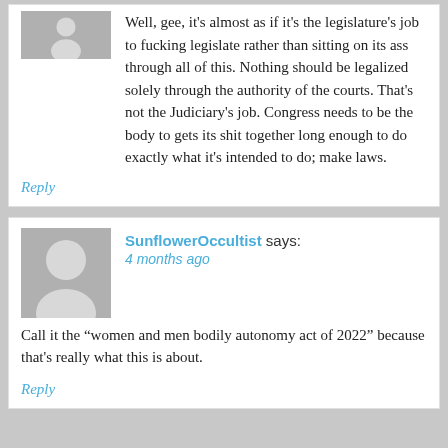Well, gee, it's almost as if it's the legislature's job to fucking legislate rather than sitting on its ass through all of this. Nothing should be legalized solely through the authority of the courts. That's not the Judiciary's job. Congress needs to be the body to gets its shit together long enough to do exactly what it's intended to do; make laws.
Reply
SunflowerOccultist says:
4 months ago
Call it the “women and men bodily autonomy act of 2022” because that's really what this is about.
Reply